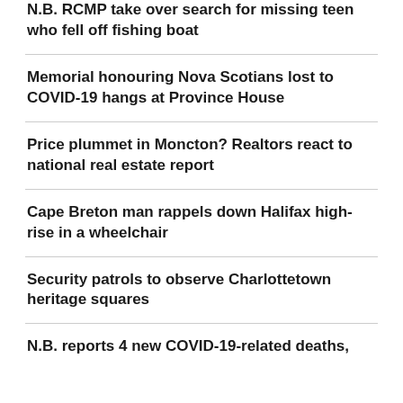N.B. RCMP take over search for missing teen who fell off fishing boat
Memorial honouring Nova Scotians lost to COVID-19 hangs at Province House
Price plummet in Moncton? Realtors react to national real estate report
Cape Breton man rappels down Halifax high-rise in a wheelchair
Security patrols to observe Charlottetown heritage squares
N.B. reports 4 new COVID-19-related deaths,